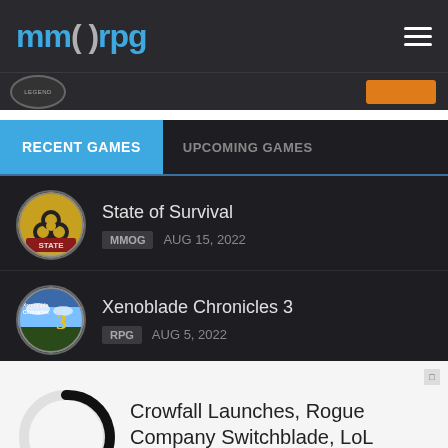MMORPG
[Figure (logo): Circular badge logo partially visible]
RECENT GAMES
UPCOMING GAMES
[Figure (illustration): State of Survival game icon - circular with biohazard symbol]
State of Survival
MMOG   AUG 15, 2022
[Figure (illustration): Xenoblade Chronicles 3 game icon - circular with game art]
Xenoblade Chronicles 3
RPG   AUG 5, 2022
[Figure (illustration): Circular loading spinner graphic]
Crowfall Launches, Rogue Company Switchblade, LoL Akshan, & More!